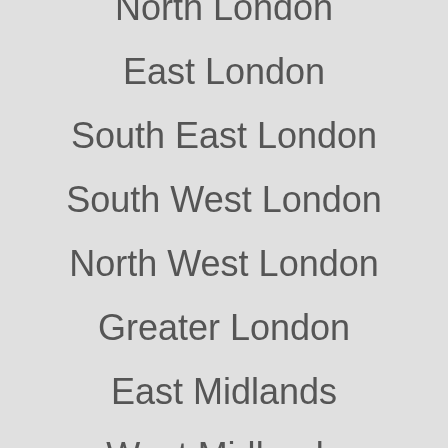North London
East London
South East London
South West London
North West London
Greater London
East Midlands
West Midlands
East of England
North East England